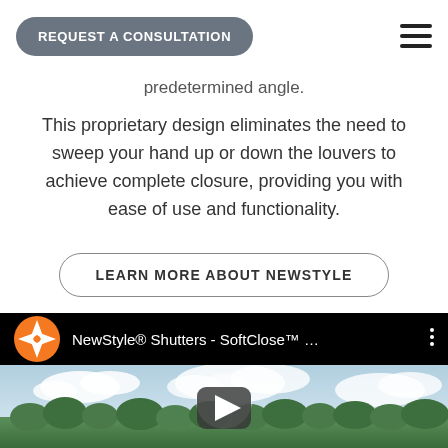REQUEST A CONSULTATION
predetermined angle.
This proprietary design eliminates the need to sweep your hand up or down the louvers to achieve complete closure, providing you with ease of use and functionality.
LEARN MORE ABOUT NEWSTYLE
[Figure (screenshot): YouTube video embed showing NewStyle® Shutters - SoftClose™ ... with orange compass logo and a landscape thumbnail with play button]